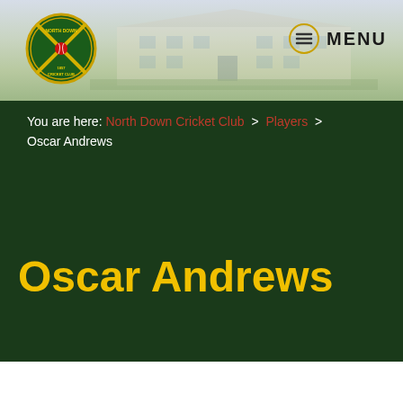[Figure (logo): North Down Cricket Club circular badge logo with crossed cricket bats, established 1857, green and gold colours]
MENU
You are here: North Down Cricket Club > Players > Oscar Andrews
Oscar Andrews